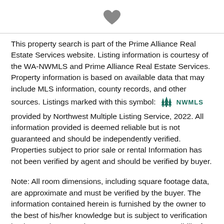[Figure (illustration): Dark gray heart icon centered at top of page]
This property search is part of the Prime Alliance Real Estate Services website. Listing information is courtesy of the WA-NWMLS and Prime Alliance Real Estate Services. Property information is based on available data that may include MLS information, county records, and other sources. Listings marked with this symbol: [NWMLS logo] provided by Northwest Multiple Listing Service, 2022. All information provided is deemed reliable but is not guaranteed and should be independently verified. Properties subject to prior sale or rental Information has not been verified by agent and should be verified by buyer.
Note: All room dimensions, including square footage data, are approximate and must be verified by the buyer. The information contained herein is furnished by the owner to the best of his/her knowledge but is subject to verification by the purchaser, and agent assumes no responsibility for the correctness thereof. The sale